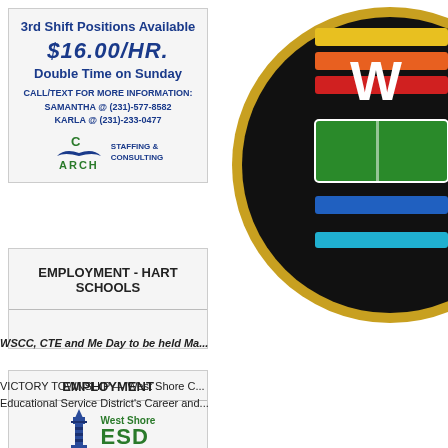[Figure (other): Arch Staffing & Consulting advertisement: 3rd Shift Positions Available, $16.00/HR., Double Time on Sunday, contact info for Samantha and Karla]
EMPLOYMENT - HART SCHOOLS
EMPLOYMENT
[Figure (logo): West Shore ESD logo with lighthouse icon and tagline: Every Learner. Every Path. Every Future.]
[Figure (illustration): WSCC circular logo with colorful stacked books on black background with gold border and letter W]
WSCC, CTE and Me Day to be held Ma...
VICTORY TOWNSHIP — West Shore C... Educational Service District's Career and...